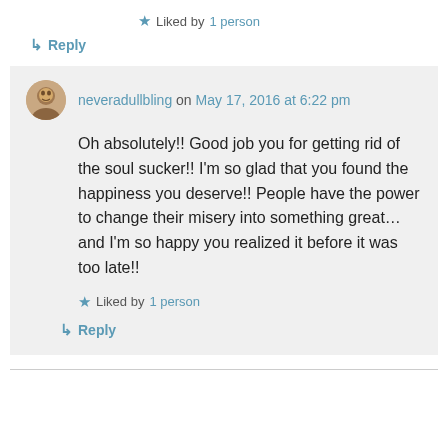★ Liked by 1 person
↳ Reply
neveradullbling on May 17, 2016 at 6:22 pm
Oh absolutely!! Good job you for getting rid of the soul sucker!! I'm so glad that you found the happiness you deserve!! People have the power to change their misery into something great... and I'm so happy you realized it before it was too late!!
★ Liked by 1 person
↳ Reply